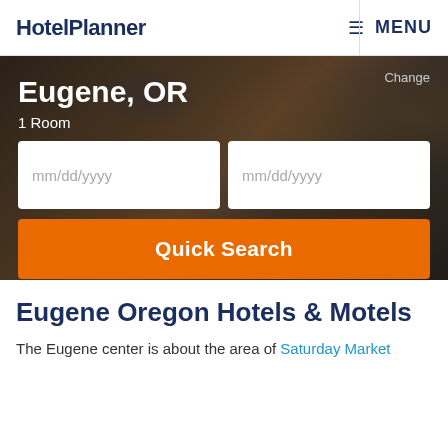HotelPlanner | MENU
Eugene, OR
1 Room
[Figure (screenshot): Hotel search interface with dark hotel lobby background, showing city Eugene OR, 1 Room, two date input fields (mm/dd/yyyy), and a Quick Search button]
Eugene Oregon Hotels & Motels
The Eugene center is about the area of Saturday Market